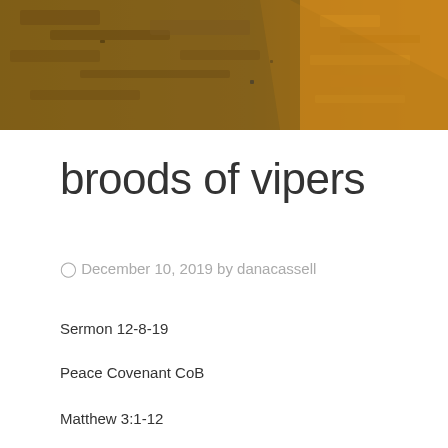[Figure (photo): Header photograph showing sandy desert/ground texture in brownish tones on the left and golden/orange rocky or straw-like texture on the right]
broods of vipers
December 10, 2019 by danacassell
Sermon 12-8-19
Peace Covenant CoB
Matthew 3:1-12